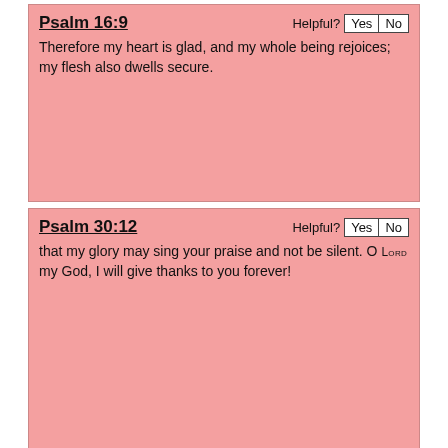Psalm 16:9
Therefore my heart is glad, and my whole being rejoices; my flesh also dwells secure.
Psalm 30:12
that my glory may sing your praise and not be silent. O Lord my God, I will give thanks to you forever!
Judges 5:12